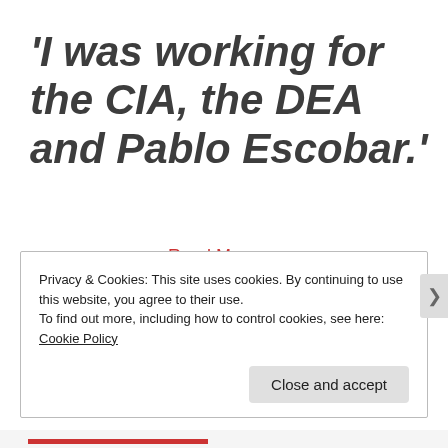'I was working for the CIA, the DEA and Pablo Escobar.'
Read More ▶
Privacy & Cookies: This site uses cookies. By continuing to use this website, you agree to their use.
To find out more, including how to control cookies, see here: Cookie Policy